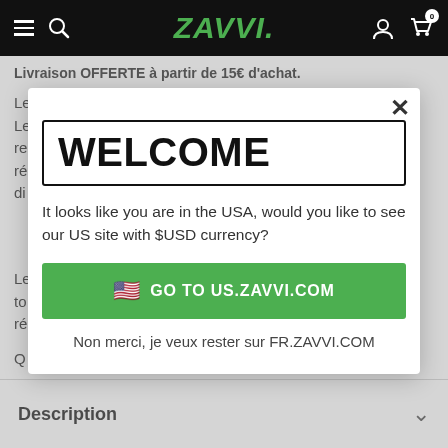ZAVVI
Livraison OFFERTE à partir de 15€ d'achat.
Les délais de livraison s'appliquent aux produits en stock. Les précommandes seront expédiées dès que nous re... ré... di...
Le... to... ré...
Q... a c...
V...
WELCOME
It looks like you are in the USA, would you like to see our US site with $USD currency?
GO TO US.ZAVVI.COM
Non merci, je veux rester sur FR.ZAVVI.COM
Description